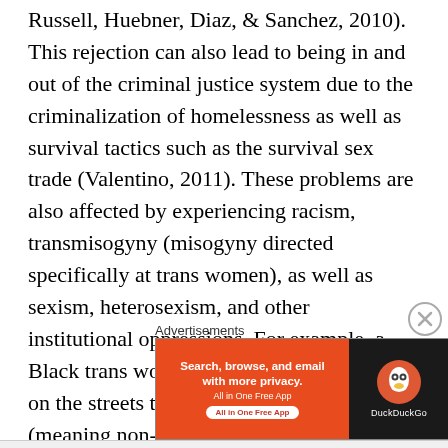Russell, Huebner, Diaz, & Sanchez, 2010). This rejection can also lead to being in and out of the criminal justice system due to the criminalization of homelessness as well as survival tactics such as the survival sex trade (Valentino, 2011). These problems are also affected by experiencing racism, transmisogyny (misogyny directed specifically at trans women), as well as sexism, heterosexism, and other institutional oppressions. For example, a Black trans women will face more problems on the streets than a White cisgender (meaning non-transgender) gay male (Grant, Mottet, Tanis, Harrison, &
Advertisements
[Figure (other): DuckDuckGo advertisement banner with orange background on the left showing 'Search, browse, and email with more privacy. All in One Free App' and dark background on the right with DuckDuckGo duck logo and brand name.]